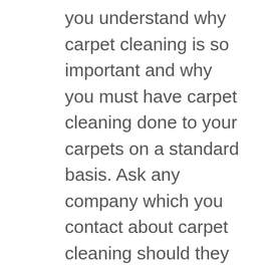you understand why carpet cleaning is so important and why you must have carpet cleaning done to your carpets on a standard basis. Ask any company which you contact about carpet cleaning should they have special chemicals for your high traffic places. Carpet cleaning is a significant routine you must never miss. We as the finest Oahu Carpet Cleaning can be of assistance in their opinion.
Even with the widespread use of carpet as a viable flooring material, you'd be shocked and amazed to understand how few individuals really understand how to correctly care for their carpeting. Your carpets are a huge investment addition if you keep them in...